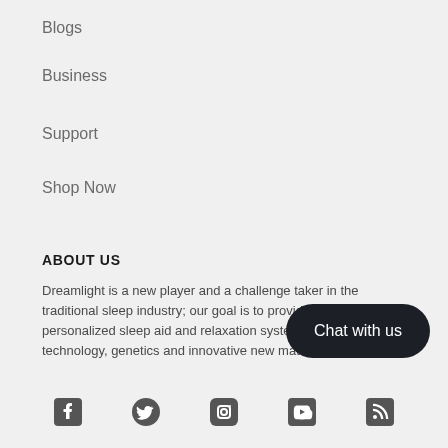Blogs
Business
Support
Shop Now
ABOUT US
Dreamlight is a new player and a challenge taker in the traditional sleep industry; our goal is to provide expertly personalized sleep aid and relaxation systems using IoT technology, genetics and innovative new material technology.
[Figure (other): Chat with us button and social media icons for Facebook, Twitter, Instagram, YouTube, and RSS feed]